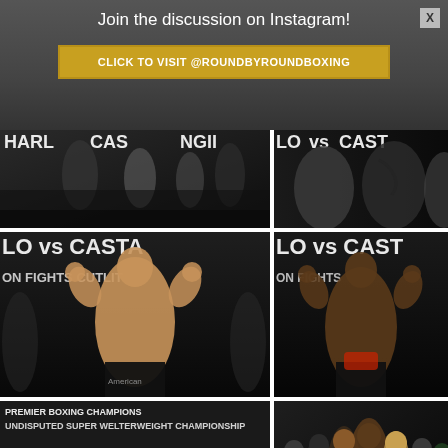Join the discussion on Instagram!
CLICK TO VISIT @ROUNDBYROUNDBOXING
[Figure (photo): Boxing weigh-in photo showing two fighters facing off with coaches and officials in background, banner reads HARLO vs CASTANO]
[Figure (photo): Close-up photo of two boxers back-to-back at weigh-in with LO vs CASTA banner]
[Figure (photo): Boxer flexing muscles at weigh-in, shirtless, LO vs CASTA banner in background]
[Figure (photo): Second boxer flexing at weigh-in, shirtless, LO vs CASTA banner in background]
[Figure (photo): Weigh-in ceremony with PREMIER BOXING CHAMPIONS HARLO vs CASTANO II banner, boxer on scale]
[Figure (photo): Group photo of boxers and team members, one holding American flag]
[Figure (photo): Partial photo row at bottom left]
[Figure (photo): Partial photo row at bottom right]